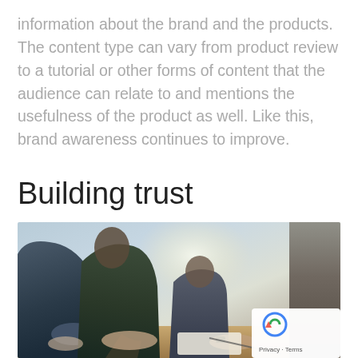information about the brand and the products. The content type can vary from product review to a tutorial or other forms of content that the audience can relate to and mentions the usefulness of the product as well. Like this, brand awareness continues to improve.
Building trust
[Figure (photo): People sitting around a table in a meeting or collaborative work session, shot from a low angle with bright light in the background. A reCAPTCHA badge with 'Privacy · Terms' text appears in the bottom-right corner of the image.]